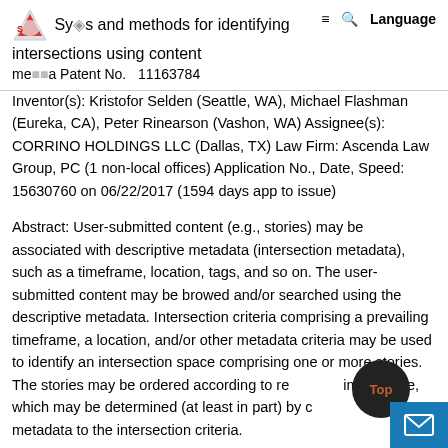Systems and methods for identifying intersections using content metadata Patent No. 11163784
Inventor(s): Kristofor Selden (Seattle, WA), Michael Flashman (Eureka, CA), Peter Rinearson (Vashon, WA) Assignee(s): CORRINO HOLDINGS LLC (Dallas, TX) Law Firm: Ascenda Law Group, PC (1 non-local offices) Application No., Date, Speed: 15630760 on 06/22/2017 (1594 days app to issue)
Abstract: User-submitted content (e.g., stories) may be associated with descriptive metadata (intersection metadata), such as a timeframe, location, tags, and so on. The user-submitted content may be browed and/or searched using the descriptive metadata. Intersection criteria comprising a prevailing timeframe, a location, and/or other metadata criteria may be used to identify an intersection space comprising one or more stories. The stories may be ordered according to relevance importance, which may be determined (at least in part) by comparing story metadata to the intersection criteria.